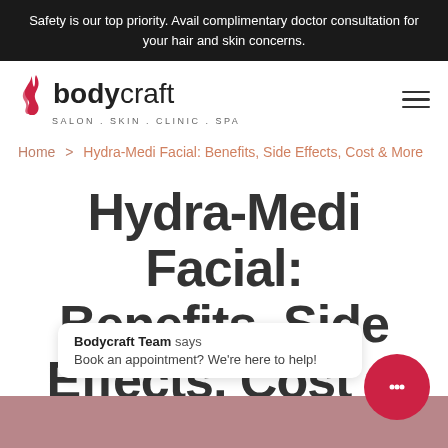Safety is our top priority. Avail complimentary doctor consultation for your hair and skin concerns.
[Figure (logo): Bodycraft logo with flame icon and tagline SALON . SKIN . CLINIC . SPA]
Home > Hydra-Medi Facial: Benefits, Side Effects, Cost & More
Hydra-Medi Facial: Benefits, Side Effects, Cost & More
Bodycraft Team says
Book an appointment? We're here to help!